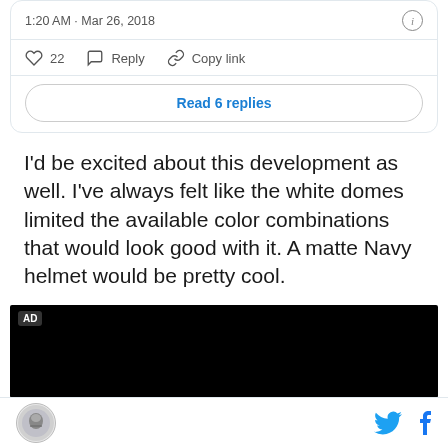1:20 AM · Mar 26, 2018
22  Reply  Copy link
Read 6 replies
I'd be excited about this development as well. I've always felt like the white domes limited the available color combinations that would look good with it. A matte Navy helmet would be pretty cool.
[Figure (screenshot): Black ad video player with 'AD' label in top left corner]
[Figure (logo): Circular site logo at bottom left]
[Figure (other): Twitter and Facebook social share icons at bottom right]